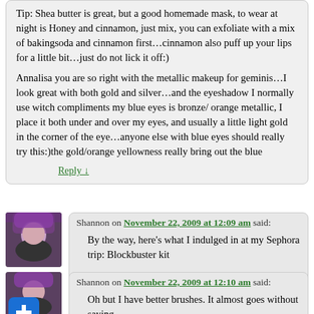Tip: Shea butter is great, but a good homemade mask, to wear at night is Honey and cinnamon, just mix, you can exfoliate with a mix of bakingsoda and cinnamon first…cinnamon also puff up your lips for a little bit…just do not lick it off:)
Annalisa you are so right with the metallic makeup for geminis…I look great with both gold and silver…and the eyeshadow I normally use witch compliments my blue eyes is bronze/ orange metallic, I place it both under and over my eyes, and usually a little light gold in the corner of the eye…anyone else with blue eyes should really try this:)the gold/orange yellowness really bring out the blue
Reply ↓
Shannon on November 22, 2009 at 12:09 am said:
By the way, here's what I indulged in at my Sephora trip: Blockbuster kit

SWOON!
Reply ↓
Shannon on November 22, 2009 at 12:10 am said:
Oh but I have better brushes. It almost goes without saying